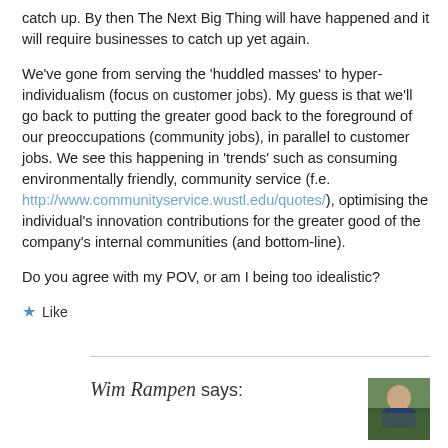catch up. By then The Next Big Thing will have happened and it will require businesses to catch up yet again.
We've gone from serving the 'huddled masses' to hyper-individualism (focus on customer jobs). My guess is that we'll go back to putting the greater good back to the foreground of our preoccupations (community jobs), in parallel to customer jobs. We see this happening in 'trends' such as consuming environmentally friendly, community service (f.e. http://www.communityservice.wustl.edu/quotes/), optimising the individual's innovation contributions for the greater good of the company's internal communities (and bottom-line).
Do you agree with my POV, or am I being too idealistic?
★ Like
Wim Rampen says:
[Figure (photo): Profile photo of Wim Rampen, a man in a suit outdoors]